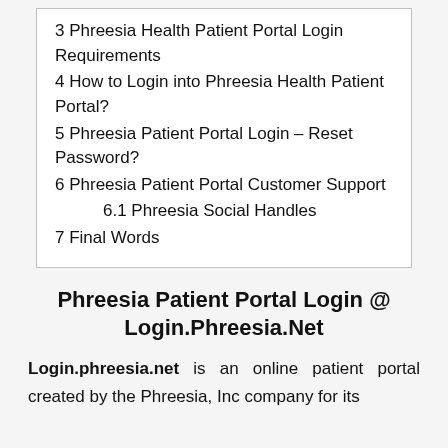3 Phreesia Health Patient Portal Login Requirements
4 How to Login into Phreesia Health Patient Portal?
5 Phreesia Patient Portal Login – Reset Password?
6 Phreesia Patient Portal Customer Support
6.1 Phreesia Social Handles
7 Final Words
Phreesia Patient Portal Login @ Login.Phreesia.Net
Login.phreesia.net is an online patient portal created by the Phreesia, Inc company for its